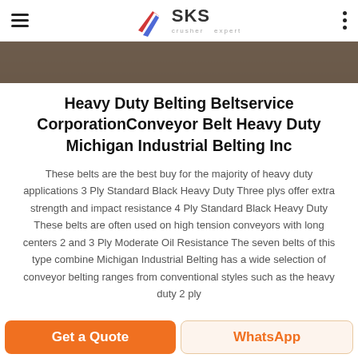SKS crusher expert
[Figure (photo): Partial photo of a conveyor belt or industrial machinery component, dark gray metallic surface visible at top of page]
Heavy Duty Belting Beltservice CorporationConveyor Belt Heavy Duty Michigan Industrial Belting Inc
These belts are the best buy for the majority of heavy duty applications 3 Ply Standard Black Heavy Duty Three plys offer extra strength and impact resistance 4 Ply Standard Black Heavy Duty These belts are often used on high tension conveyors with long centers 2 and 3 Ply Moderate Oil Resistance The seven belts of this type combine Michigan Industrial Belting has a wide selection of conveyor belting ranges from conventional styles such as the heavy duty 2 ply